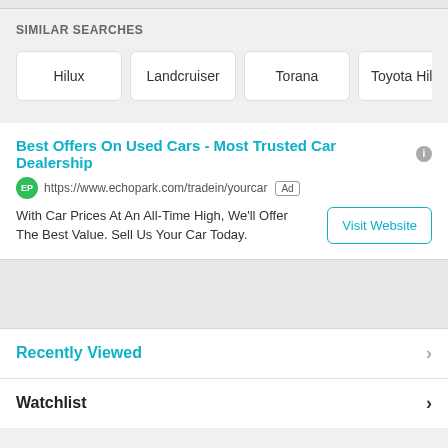SIMILAR SEARCHES
Hilux
Landcruiser
Torana
Toyota Hilux
Best Offers On Used Cars - Most Trusted Car Dealership
https://www.echopark.com/tradein/yourcar  Ad
With Car Prices At An All-Time High, We'll Offer The Best Value. Sell Us Your Car Today.
Visit Website
Recently Viewed
Watchlist